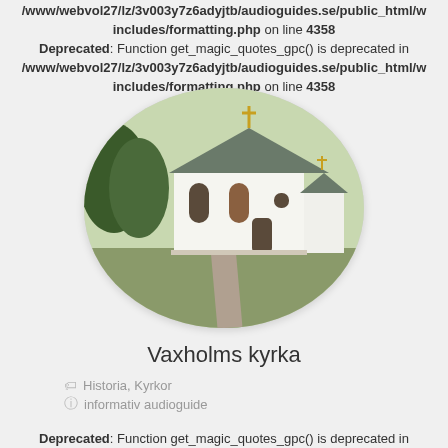/www/webvol27/lz/3v003y7z6adyjtb/audioguides.se/public_html/w includes/formatting.php on line 4358
Deprecated: Function get_magic_quotes_gpc() is deprecated in /www/webvol27/lz/3v003y7z6adyjtb/audioguides.se/public_html/w includes/formatting.php on line 4358
[Figure (photo): Oval-cropped photo of Vaxholms kyrka, a white church with dark roof and trees in background]
Vaxholms kyrka
Historia, Kyrkor
informativ audioguide
Deprecated: Function get_magic_quotes_gpc() is deprecated in